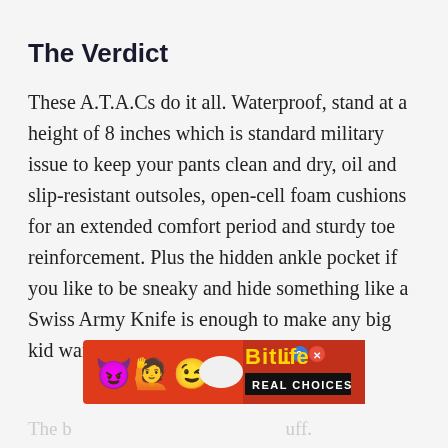The Verdict
These A.T.A.Cs do it all. Waterproof, stand at a height of 8 inches which is standard military issue to keep your pants clean and dry, oil and slip-resistant outsoles, open-cell foam cushions for an extended comfort period and sturdy toe reinforcement. Plus the hidden ankle pocket if you like to be sneaky and hide something like a Swiss Army Knife is enough to make any big kid want to lace these bad boys up.
[Figure (other): BitLife Real Choices advertisement banner with emoji characters (devil, woman with raised hands, winking face) on a red background, with gold BitLife logo and black Real Choices text bar, and question mark and X icons.]
The b... uff.